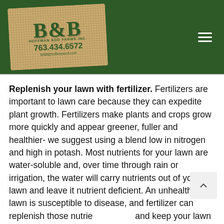[Figure (logo): B&B Hoffman Sod Farms Inc. logo on burlap-textured background with phone number 763.434.6572 and email, displayed on dark green header with hamburger menu icon]
Replenish your lawn with fertilizer. Fertilizers are important to lawn care because they can expedite plant growth. Fertilizers make plants and crops grow more quickly and appear greener, fuller and healthier- we suggest using a blend low in nitrogen and high in potash. Most nutrients for your lawn are water-soluble and, over time through rain or irrigation, the water will carry nutrients out of your lawn and leave it nutrient deficient. An unhealthy lawn is susceptible to disease, and fertilizer can replenish those nutrients and keep your lawn healthy.
Repair or replace your lawn with sod. B&B Hoffman